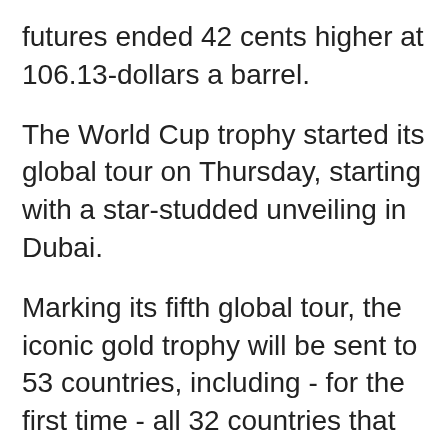futures ended 42 cents higher at 106.13-dollars a barrel.
The World Cup trophy started its global tour on Thursday, starting with a star-studded unveiling in Dubai.
Marking its fifth global tour, the iconic gold trophy will be sent to 53 countries, including - for the first time - all 32 countries that qualified for the 2022 World Cup.
Former Brazilian midfielder Kaka, and former World Cup-winning Spanish goalkeeper, Iker Casillas, joined the ceremony in Dubai.
The tour allows fans to see the trophy up-close and to have it...